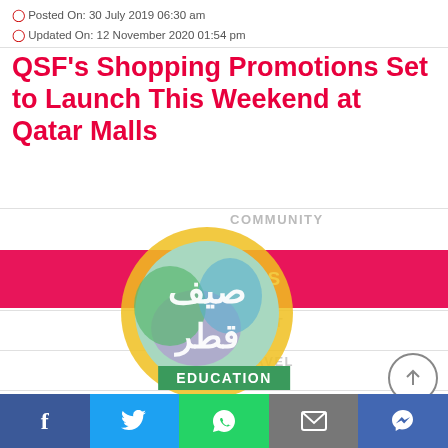Posted On: 30 July 2019 06:30 am
Updated On: 12 November 2020 01:54 pm
QSF's Shopping Promotions Set to Launch This Weekend at Qatar Malls
[Figure (illustration): Colorful circular logo with Arabic text and overlapping navigation menu items: COMMUNITY, BUSINESS (highlighted pink), SPORT, TRAVEL, HEALTH & WEL... overlaid on a decorative circle with Arabic calligraphy for Qatar Summer Festival]
f  [twitter bird]  [whatsapp]  [email]  [messenger] — EDUCATION social sharing bar